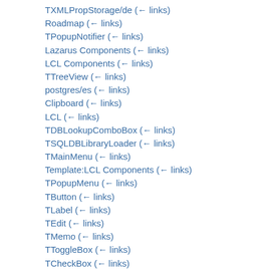TXMLPropStorage/de  (← links)
Roadmap  (← links)
TPopupNotifier  (← links)
Lazarus Components  (← links)
LCL Components  (← links)
TTreeView  (← links)
postgres/es  (← links)
Clipboard  (← links)
LCL  (← links)
TDBLookupComboBox  (← links)
TSQLDBLibraryLoader  (← links)
TMainMenu  (← links)
Template:LCL Components  (← links)
TPopupMenu  (← links)
TButton  (← links)
TLabel  (← links)
TEdit  (← links)
TMemo  (← links)
TToggleBox  (← links)
TCheckBox  (← links)
TRadioButton  (← links)
TListBox  (← links)